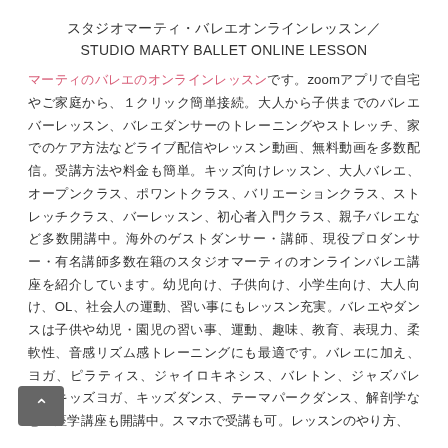スタジオマーティ・バレエオンラインレッスン / STUDIO MARTY BALLET ONLINE LESSON
マーティのバレエのオンラインレッスンです。zoomアプリで自宅やご家庭から、１クリック簡単接続。大人から子供までのバレエバーレッスン、バレエダンサーのトレーニングやストレッチ、家でのケア方法などライブ配信やレッスン動画、無料動画を多数配信。受講方法や料金も簡単。キッズ向けレッスン、大人バレエ、オープンクラス、ポワントクラス、バリエーションクラス、ストレッチクラス、バーレッスン、初心者入門クラス、親子バレエなど多数開講中。海外のゲストダンサー・講師、現役プロダンサー・有名講師多数在籍のスタジオマーティのオンラインバレエ講座を紹介しています。幼児向け、子供向け、小学生向け、大人向け、OL、社会人の運動、習い事にもレッスン充実。バレエやダンスは子供や幼児・園児の習い事、運動、趣味、教育、表現力、柔軟性、音感リズム感トレーニングにも最適です。バレエに加え、ヨガ、ピラティス、ジャイロキネシス、バレトン、ジャズバレエ、キッズヨガ、キッズダンス、テーマパークダンス、解剖学などの座学講座も開講中。スマホで受講も可。レッスンのやり方、